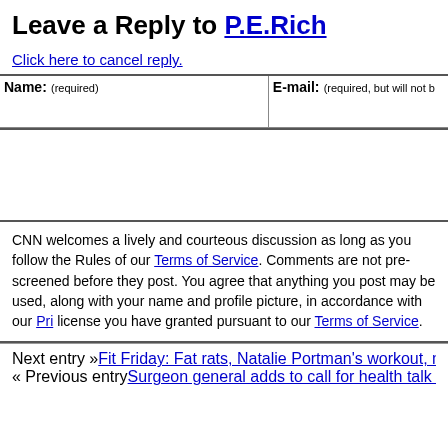Leave a Reply to P.E.Rich
Click here to cancel reply.
| Name: (required) | E-mail: (required, but will not be shown) |
| --- | --- |
|  |  |
CNN welcomes a lively and courteous discussion as long as you follow the Rules of our Terms of Service. Comments are not pre-screened before they post. You agree that anything you post may be used, along with your name and profile picture, in accordance with our Privacy Policy and the license you have granted pursuant to our Terms of Service.
Next entry »Fit Friday: Fat rats, Natalie Portman's workout, misperceived...
« Previous entrySurgeon general adds to call for health talk on turkey day